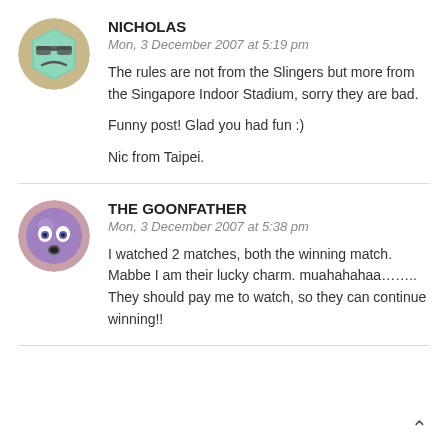[Figure (illustration): Round avatar icon showing a green hexagonal robot/alien face with glasses and a frown, on a tan/beige circular background]
NICHOLAS
Mon, 3 December 2007 at 5:19 pm
The rules are not from the Slingers but more from the Singapore Indoor Stadium, sorry they are bad.

Funny post! Glad you had fun :)

Nic from Taipei.
[Figure (illustration): Round avatar icon showing a purple surprised/shocked face emoji with wide eyes and open mouth, on a pink circular background]
THE GOONFATHER
Mon, 3 December 2007 at 5:38 pm
I watched 2 matches, both the winning match. Mabbe I am their lucky charm. muahahahaa…….. They should pay me to watch, so they can continue winning!!